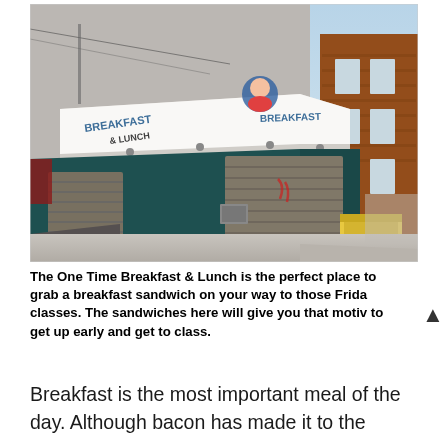[Figure (photo): Exterior photo of One Time Breakfast & Lunch restaurant on a corner. The building has a dark teal/green lower facade with metal roll-down shutters over the windows. The upper portion is gray stucco. A large white awning with the restaurant name and logo (showing a cartoon character) wraps around the corner. Adjacent brick buildings and a sidewalk are visible on the right side. Clear sky in background.]
The One Time Breakfast & Lunch is the perfect place to grab a breakfast sandwich on your way to those Frida classes. The sandwiches here will give you that motiv to get up early and get to class.
Breakfast is the most important meal of the day. Although bacon has made it to the